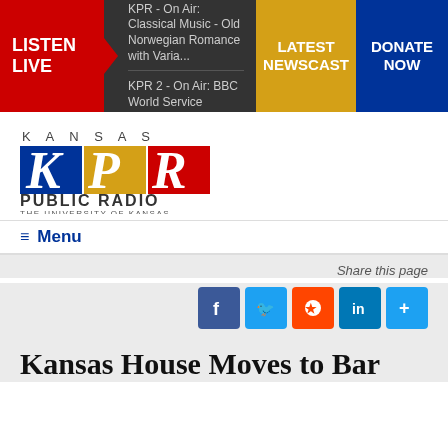LISTEN LIVE | KPR - On Air: Classical Music - Old Norwegian Romance with Varia... | KPR 2 - On Air: BBC World Service | LATEST NEWSCAST | DONATE NOW
[Figure (logo): Kansas Public Radio - The University of Kansas logo with blue K, gold P, and red R letters on colored square backgrounds]
≡ Menu
Share this page
[Figure (infographic): Social share buttons: Facebook, Twitter, Reddit, LinkedIn, More]
Kansas House Moves to Bar